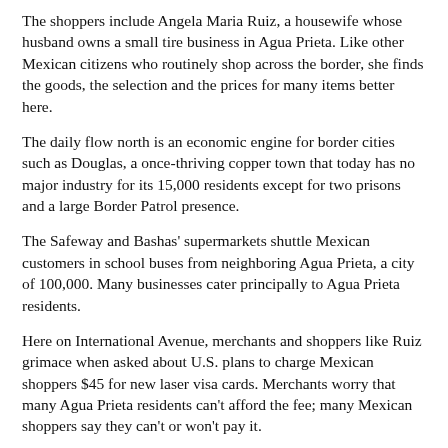The shoppers include Angela Maria Ruiz, a housewife whose husband owns a small tire business in Agua Prieta. Like other Mexican citizens who routinely shop across the border, she finds the goods, the selection and the prices for many items better here.
The daily flow north is an economic engine for border cities such as Douglas, a once-thriving copper town that today has no major industry for its 15,000 residents except for two prisons and a large Border Patrol presence.
The Safeway and Bashas' supermarkets shuttle Mexican customers in school buses from neighboring Agua Prieta, a city of 100,000. Many businesses cater principally to Agua Prieta residents.
Here on International Avenue, merchants and shoppers like Ruiz grimace when asked about U.S. plans to charge Mexican shoppers $45 for new laser visa cards. Merchants worry that many Agua Prieta residents can't afford the fee; many Mexican shoppers say they can't or won't pay it.
``I like American products better, especially at Safeway or Wal-Mart,'' Ruiz said. ``But don't forget, Douglas needs us as much as we need Douglas.''
She said she might not be able to afford to keep shopping here if, as planned, the United States starts requiring some 5 million